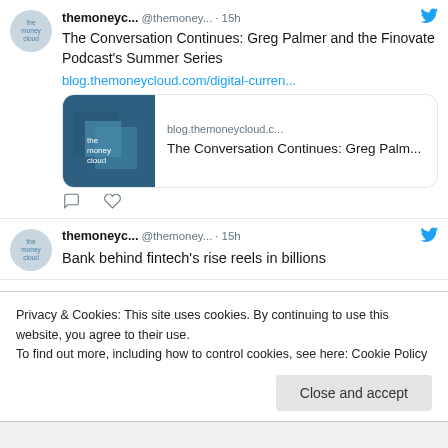[Figure (screenshot): Twitter/social media feed screenshot showing tweets from 'themoneycloud'. First tweet: 'The Conversation Continues: Greg Palmer and the Finovate Podcast's Summer Series' with a link card showing blog.themoneycloud.c... and 'The Conversation Continues: Greg Palm...' with the money cloud logo. Second tweet begins: 'Bank behind fintech's rise reels in billions'. Cookie consent banner overlay at bottom.]
themoneyc... @themoney... · 15h
The Conversation Continues: Greg Palmer and the Finovate Podcast's Summer Series
blog.themoneycloud.com/digital-curren...
blog.themoneycloud.c...
The Conversation Continues: Greg Palm...
themoneyc... @themoney... · 15h
Bank behind fintech's rise reels in billions
Privacy & Cookies: This site uses cookies. By continuing to use this website, you agree to their use.
To find out more, including how to control cookies, see here: Cookie Policy